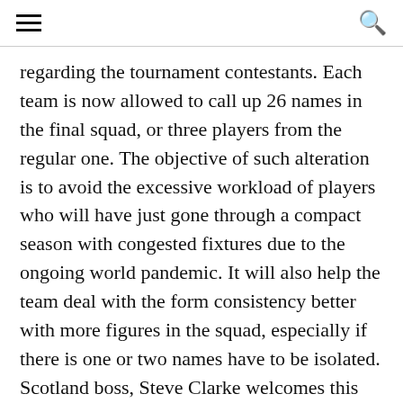regarding the tournament contestants. Each team is now allowed to call up 26 names in the final squad, or three players from the regular one. The objective of such alteration is to avoid the excessive workload of players who will have just gone through a compact season with congested fixtures due to the ongoing world pandemic. It will also help the team deal with the form consistency better with more figures in the squad, especially if there is one or two names have to be isolated. Scotland boss, Steve Clarke welcomes this change positively.
"Obviously it will make the job when you're there more difficult because you're leaving players out that